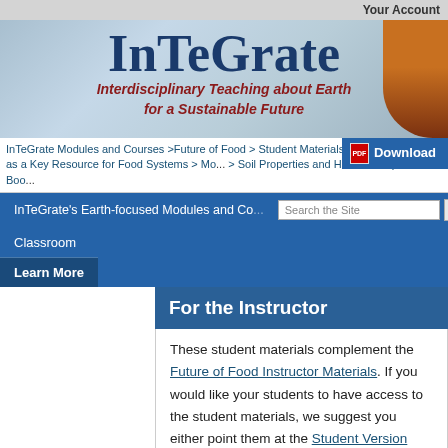Your Account
[Figure (screenshot): InTeGrate banner with blue watercolor background, large bold title 'InTeGrate', subtitle 'Interdisciplinary Teaching about Earth for a Sustainable Future' in dark red italic, and a circular photo on the right]
InTeGrate Modules and Courses >Future of Food > Student Materials > Module 5: Soils as a Key Resource for Food Systems > Module 5 Activities > Soil Properties and Human Responses to Boost Foo...
[Figure (screenshot): Download button overlay with PDF icon]
InTeGrate's Earth-focused Modules and Courses
Classroom
Learn More
For the Instructor
These student materials complement the Future of Food Instructor Materials. If you would like your students to have access to the student materials, we suggest you either point them at the Student Version which omits the framing